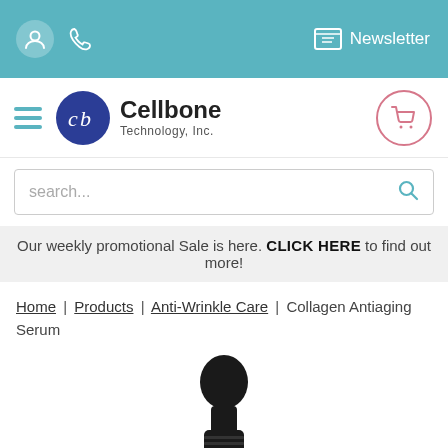Newsletter
[Figure (logo): Cellbone Technology, Inc. logo — blue circle with 'cb' initials and company name]
search...
Our weekly promotional Sale is here. CLICK HERE to find out more!
Home | Products | Anti-Wrinkle Care | Collagen Antiaging Serum
[Figure (photo): Black dropper bottle top (serum dropper cap) — Collagen Antiaging Serum product photo]